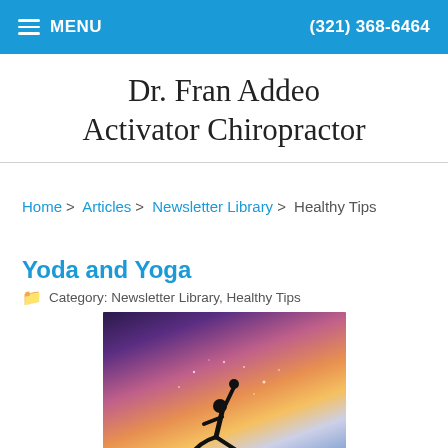MENU | (321) 368-6464
Dr. Fran Addeo Activator Chiropractor
Home > Articles > Newsletter Library > Healthy Tips
Yoda and Yoga
Category: Newsletter Library, Healthy Tips
[Figure (photo): Silhouette of a person in a yoga warrior pose against a dramatic cosmic/galaxy night sky background with purple, orange, and blue hues]